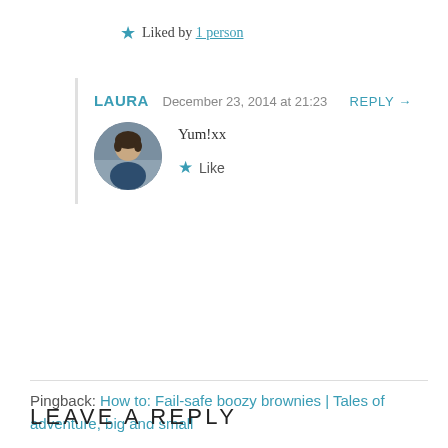★ Liked by 1 person
LAURA  December 23, 2014 at 21:23  REPLY →
[Figure (photo): Circular avatar photo of a woman with short dark hair wearing a dark top, with a building visible in the background.]
Yum!xx
★ Like
Pingback: How to: Fail-safe boozy brownies | Tales of adventure, big and small
LEAVE A REPLY